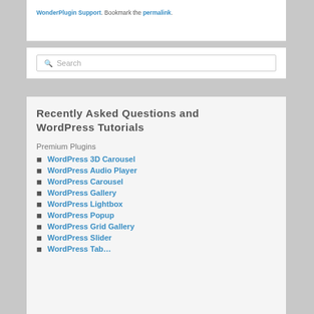WonderPlugin Support. Bookmark the permalink.
Search
Recently Asked Questions and WordPress Tutorials
Premium Plugins
WordPress 3D Carousel
WordPress Audio Player
WordPress Carousel
WordPress Gallery
WordPress Lightbox
WordPress Popup
WordPress Grid Gallery
WordPress Slider
WordPress Tab…